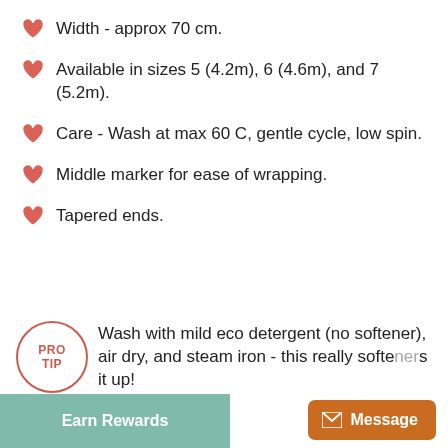Width - approx 70 cm.
Available in sizes 5 (4.2m), 6 (4.6m), and 7 (5.2m).
Care - Wash at max 60 C, gentle cycle, low spin.
Middle marker for ease of wrapping.
Tapered ends.
Wash with mild eco detergent (no softener), air dry, and steam iron - this really softe...up!